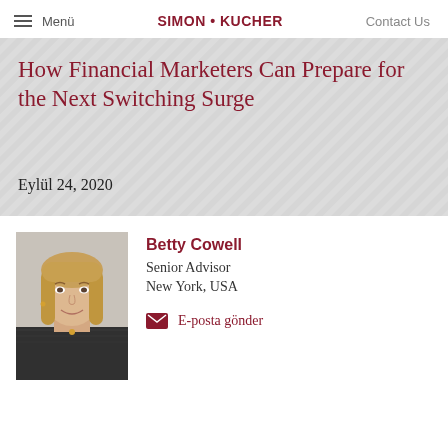Menü   SIMON + KUCHER   Contact Us
How Financial Marketers Can Prepare for the Next Switching Surge
Eylül 24, 2020
[Figure (photo): Professional headshot of Betty Cowell, a woman with blonde hair, smiling, wearing a patterned jacket]
Betty Cowell
Senior Advisor
New York, USA
E-posta gönder